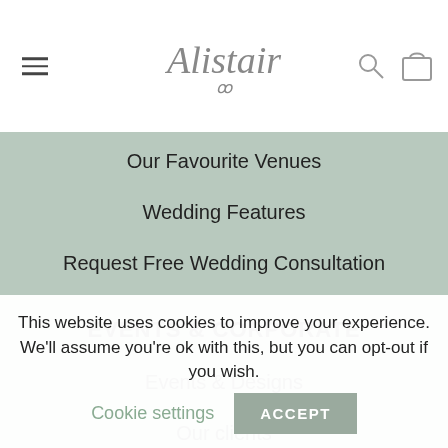[Figure (logo): Alistair script logo in cursive grey font, centered in white header bar with hamburger menu icon on left, search and bag icons on right]
Our Favourite Venues
Wedding Features
Request Free Wedding Consultation
EVENTS & CORPORATE
Events & Designs
Our clients
Features
This website uses cookies to improve your experience. We'll assume you're ok with this, but you can opt-out if you wish. Cookie settings ACCEPT